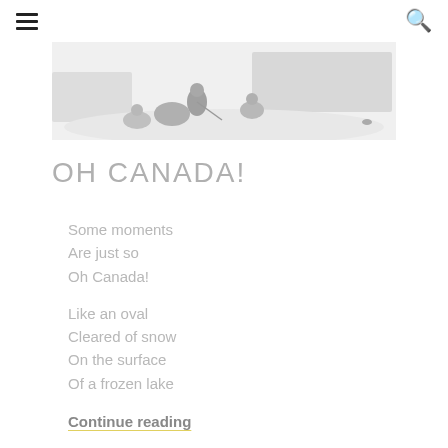≡  🔍
[Figure (photo): Black and white / light grayscale photo showing figures on a snowy or icy outdoor scene, likely hockey or winter activity on a frozen lake]
OH CANADA!
Some moments
Are just so
Oh Canada!
Like an oval
Cleared of snow
On the surface
Of a frozen lake
Continue reading